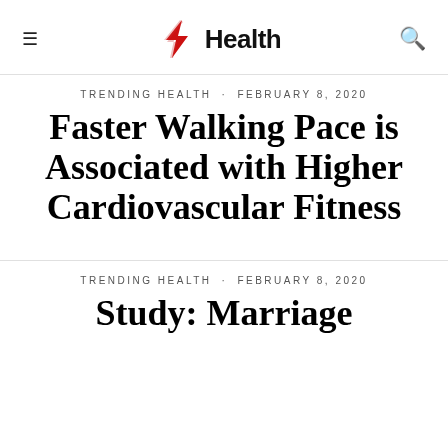SE Health
TRENDING HEALTH · FEBRUARY 8, 2020
Faster Walking Pace is Associated with Higher Cardiovascular Fitness
TRENDING HEALTH · FEBRUARY 8, 2020
Study: Marriage